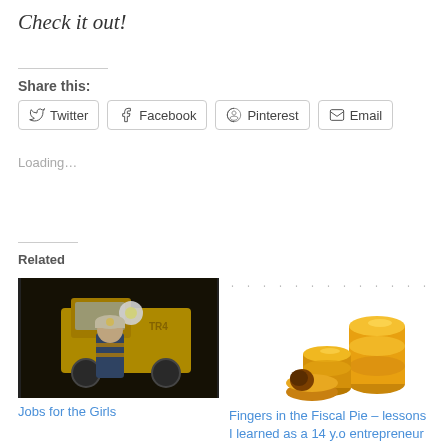Check it out!
Share this:
Twitter  Facebook  Pinterest  Email
Loading...
Related
[Figure (photo): Young woman in hard hat and overalls standing in front of a large yellow mining truck underground]
Jobs for the Girls
[Figure (photo): Stack of gold chocolate coins on white background with 'Financial Bender' text banner above]
Fingers in the Fiscal Pie – lessons I learned as a 14 y.o entrepreneur